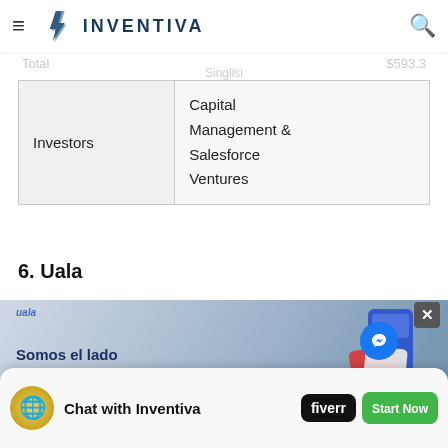Inventiva
| Investors | Capital Management & Salesforce Ventures |
| --- | --- |
| Investors | Capital Management &
Salesforce
Ventures |
6. Uala
[Figure (screenshot): Screenshot of Uala website showing 'Somos el lado bueno de tu plata' with a phone graphic and payment cards]
[Figure (screenshot): Bottom ad bar with chat icon, 'Chat with Inventiva' text, Fiverr badge, Start Now button, messenger icon, close button, Facebook button, phone button]